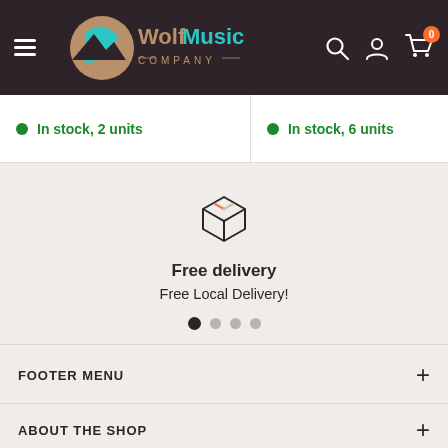WolfMusic Company - navigation header with logo, search, account, and cart icons
In stock, 2 units
In stock, 6 units
[Figure (illustration): Box/package icon representing free delivery]
Free delivery
Free Local Delivery!
FOOTER MENU
ABOUT THE SHOP